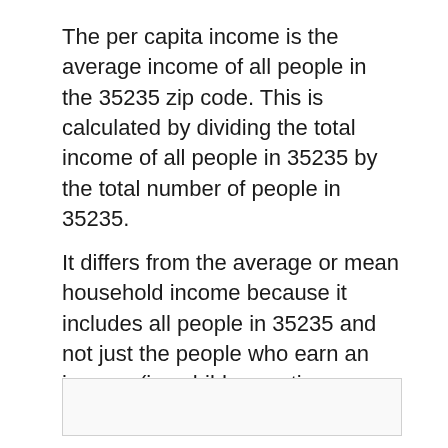The per capita income is the average income of all people in the 35235 zip code. This is calculated by dividing the total income of all people in 35235 by the total number of people in 35235.
It differs from the average or mean household income because it includes all people in 35235 and not just the people who earn an income (i.e. children, retirees, unemployed, etc.).